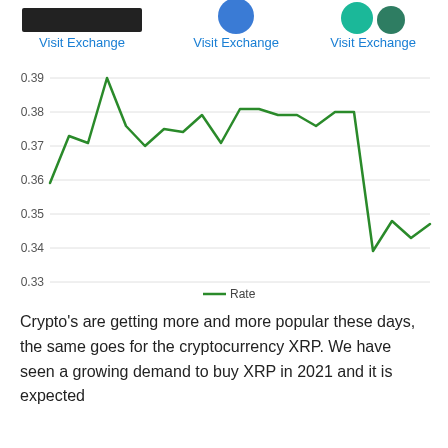[Figure (screenshot): Three exchange logos with Visit Exchange links at the top of the page]
[Figure (line-chart): XRP Rate]
Crypto's are getting more and more popular these days, the same goes for the cryptocurrency XRP. We have seen a growing demand to buy XRP in 2021 and it is expected